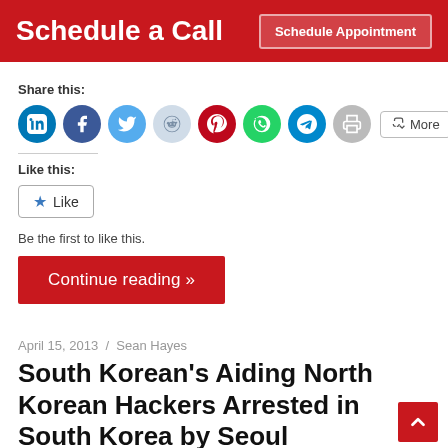Schedule a Call
Share this:
[Figure (infographic): Social share icons: LinkedIn (blue), Facebook (blue), Twitter (light blue), Reddit (light blue/gray), Pinterest (red/dark), WhatsApp (green), Telegram (blue), Print (gray circle), More button]
Like this:
[Figure (infographic): Like button with star icon]
Be the first to like this.
Continue reading »
April 15, 2013  /  Sean Hayes
South Korean's Aiding North Korean Hackers Arrested in South Korea by Seoul Central District Prosecutors' Office